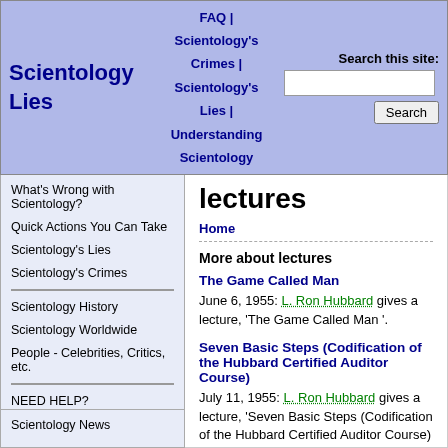Scientology Lies | FAQ | Scientology's Crimes | Scientology's Lies | Understanding Scientology | Search this site:
What's Wrong with Scientology?
Quick Actions You Can Take
Scientology's Lies
Scientology's Crimes
Scientology History
Scientology Worldwide
People - Celebrities, Critics, etc.
NEED HELP?
Send Me Stuff!
The Human Face of Scientology
If You're A Scientologist
Scientology News
lectures
Home
More about lectures
The Game Called Man
June 6, 1955: L. Ron Hubbard gives a lecture, 'The Game Called Man '.
Seven Basic Steps (Codification of the Hubbard Certified Auditor Course)
July 11, 1955: L. Ron Hubbard gives a lecture, 'Seven Basic Steps (Codification of the Hubbard Certified Auditor Course) '.
"The Secret Is..."
August 5, 1955: L. Ron Hubbard gives a lecture,